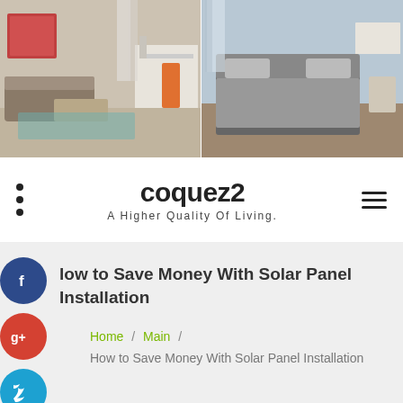[Figure (photo): Website header banner showing two interior room photos side by side: a modern living room on the left and a bedroom on the right]
coquez2
A Higher Quality Of Living.
How to Save Money With Solar Panel Installation
Home / Main / How to Save Money With Solar Panel Installation